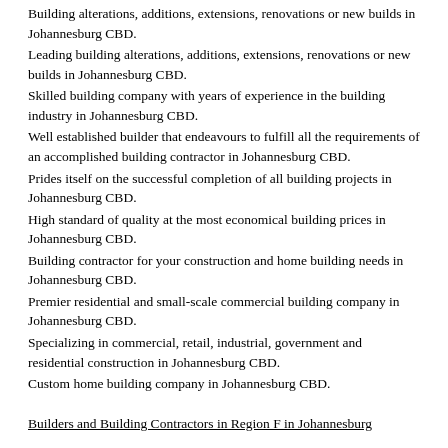Building alterations, additions, extensions, renovations or new builds in Johannesburg CBD.
Leading building alterations, additions, extensions, renovations or new builds in Johannesburg CBD.
Skilled building company with years of experience in the building industry in Johannesburg CBD.
Well established builder that endeavours to fulfill all the requirements of an accomplished building contractor in Johannesburg CBD.
Prides itself on the successful completion of all building projects in Johannesburg CBD.
High standard of quality at the most economical building prices in Johannesburg CBD.
Building contractor for your construction and home building needs in Johannesburg CBD.
Premier residential and small-scale commercial building company in Johannesburg CBD.
Specializing in commercial, retail, industrial, government and residential construction in Johannesburg CBD.
Custom home building company in Johannesburg CBD.
Builders and Building Contractors in Region F in Johannesburg